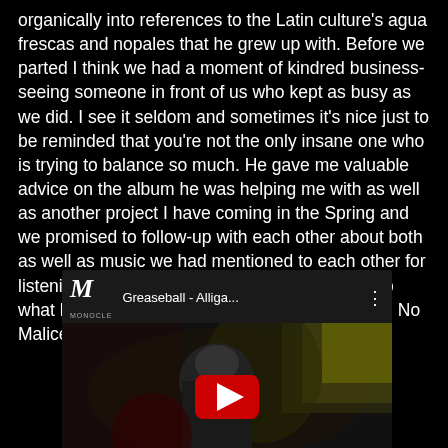organically into references to the Latin culture's agua frescas and nopales that he grew up with. Before we parted I think we had a moment of kindred business- seeing someone in front of us who kept as busy as we did. I see it seldom and sometimes it's nice just to be reminded that you're not the only insane one who is trying to balance so much. He gave me valuable advice on the album he was helping me with as well as another project I have coming in the Spring and we promised to follow-up with each other about both as well as music we had mentioned to each other for listening recommendations- I'm still curious as to what he'll think of At the Drive In, Mars Volta and No Malice albums I sent him links to.
[Figure (screenshot): Embedded YouTube video thumbnail showing 'Greaseball - Alliga...' from the Monocle channel. A dark thumbnail with a performer visible, and a red YouTube play button in the center.]